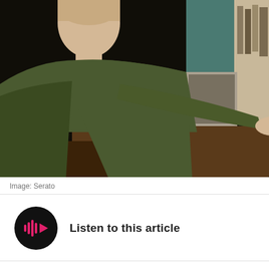[Figure (photo): A man in a military-style jacket sitting at a desk using a laptop with DJ/music production software (Serato) open on screen, with vinyl records and other items on the desk, in a dimly lit room with posters in the background.]
Image: Serato
[Figure (other): Black circular play button icon with pink/magenta audio waveform and play triangle icon, labeled 'Listen to this article']
Popular DJ and music production software company Serato has released an update to its